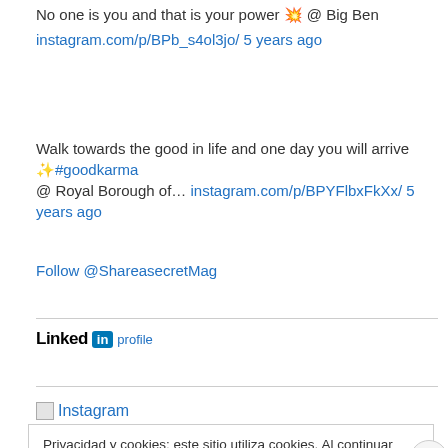No one is you and that is your power 💥 @ Big Ben
instagram.com/p/BPb_s4ol3jo/ 5 years ago
Walk towards the good in life and one day you will arrive ✨#goodkarma @ Royal Borough of… instagram.com/p/BPYFlbxFkXx/ 5 years ago
Follow @ShareasecretMag
LinkedIn profile
Instagram
Privacidad y cookies: este sitio utiliza cookies. Al continuar utilizando esta web, aceptas su uso.
Para obtener más información, incluido cómo controlar las cookies, consulta aquí: Política de cookies
Cerrar y aceptar